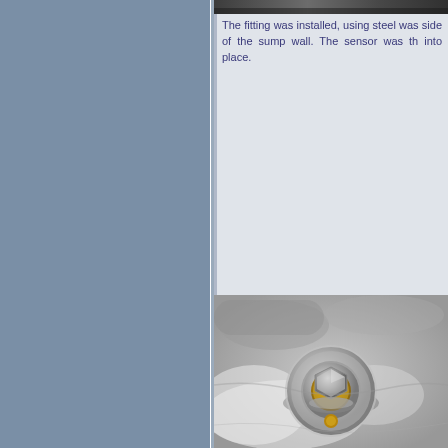[Figure (photo): Partial top strip of a dark/grainy photo, cropped at the top of the page on the right panel]
The fitting was installed, using steel was side of the sump wall. The sensor was th into place.
[Figure (photo): Close-up photo of a metal fitting/sensor bolt assembly installed on a metallic sump wall, showing a brass bolt with steel washers and a hex nut]